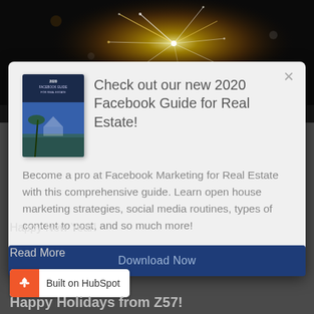[Figure (photo): Dark background with fireworks/sparkles bokeh effect]
[Figure (screenshot): Modal popup overlay with book cover image for 2020 Facebook Guide for Real Estate, title text, description, and Download Now button]
Check out our new 2020 Facebook Guide for Real Estate!
Become a pro at Facebook Marketing for Real Estate with this comprehensive guide. Learn open house marketing strategies, social media routines, types of content to post, and so much more!
Download Now
Happy New Year!
Read More
[Figure (logo): Built on HubSpot badge with orange HubSpot sprocket icon]
Happy Holidays from Z57!